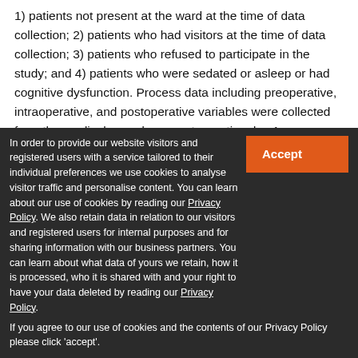1) patients not present at the ward at the time of data collection; 2) patients who had visitors at the time of data collection; 3) patients who refused to participate in the study; and 4) patients who were sedated or asleep or had cognitive dysfunction. Process data including preoperative, intraoperative, and postoperative variables were collected from the medical records on postoperative day 1.
The validated 15-item questionnaire asked for worst and least pain intensities since surgery using an NRS (NRS: 0 = no pain and 10 = worst pain imaginable).^16 A specialized pain nurse visited a random sample of patients on the first postoperative day. Mandatory visits were also daily...
In order to provide our website visitors and registered users with a service tailored to their individual preferences we use cookies to analyse visitor traffic and personalise content. You can learn about our use of cookies by reading our Privacy Policy. We also retain data in relation to our visitors and registered users for internal purposes and for sharing information with our business partners. You can learn about what data of yours we retain, how it is processed, who it is shared with and your right to have your data deleted by reading our Privacy Policy. If you agree to our use of cookies and the contents of our Privacy Policy please click 'accept'.